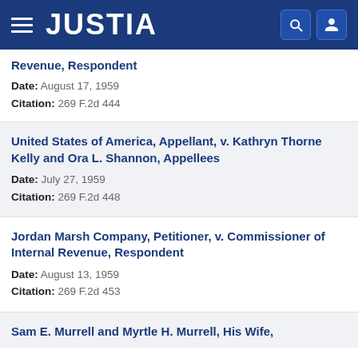JUSTIA
Revenue, Respondent
Date: August 17, 1959
Citation: 269 F.2d 444
United States of America, Appellant, v. Kathryn Thorne Kelly and Ora L. Shannon, Appellees
Date: July 27, 1959
Citation: 269 F.2d 448
Jordan Marsh Company, Petitioner, v. Commissioner of Internal Revenue, Respondent
Date: August 13, 1959
Citation: 269 F.2d 453
Sam E. Murrell and Myrtle H. Murrell, His Wife,